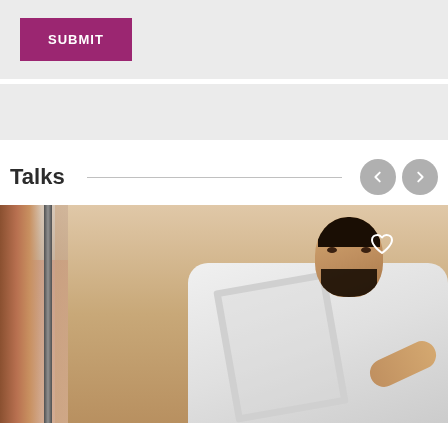[Figure (screenshot): Submit button section with gray background and purple SUBMIT button]
[Figure (screenshot): Gray bar section (empty content area)]
Talks
[Figure (photo): Photo of a bearded man in a white shirt holding a framed canvas in a gallery setting, with a heart/like icon overlay in the upper right]